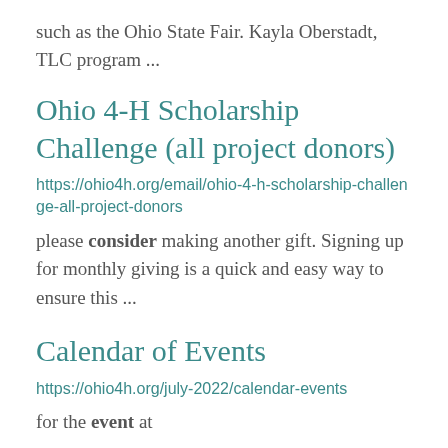such as the Ohio State Fair. Kayla Oberstadt, TLC program ...
Ohio 4-H Scholarship Challenge (all project donors)
https://ohio4h.org/email/ohio-4-h-scholarship-challenge-all-project-donors
please consider making another gift. Signing up for monthly giving is a quick and easy way to ensure this ...
Calendar of Events
https://ohio4h.org/july-2022/calendar-events
for the event at
https://ohio4h.org/...